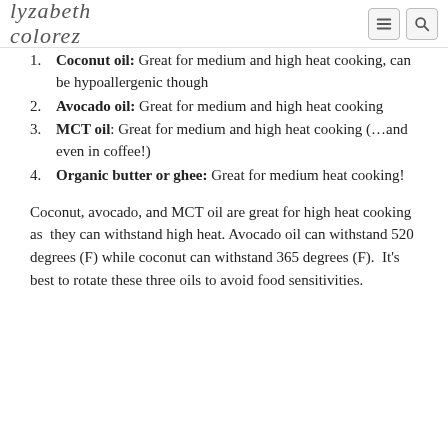lyzabeth colorez
Coconut oil: Great for medium and high heat cooking, can be hypoallergenic though
Avocado oil: Great for medium and high heat cooking
MCT oil: Great for medium and high heat cooking (...and even in coffee!)
Organic butter or ghee: Great for medium heat cooking!
Coconut, avocado, and MCT oil are great for high heat cooking as they can withstand high heat. Avocado oil can withstand 520 degrees (F) while coconut can withstand 365 degrees (F). It's best to rotate these three oils to avoid food sensitivities.